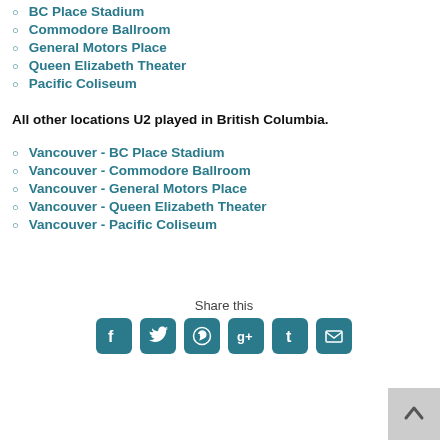BC Place Stadium
Commodore Ballroom
General Motors Place
Queen Elizabeth Theater
Pacific Coliseum
All other locations U2 played in British Columbia.
Vancouver - BC Place Stadium
Vancouver - Commodore Ballroom
Vancouver - General Motors Place
Vancouver - Queen Elizabeth Theater
Vancouver - Pacific Coliseum
Share this
[Figure (infographic): Social share buttons: Facebook, Twitter, WhatsApp, Google+, Tumblr, Email]
[Figure (other): Back to top button with upward arrow]